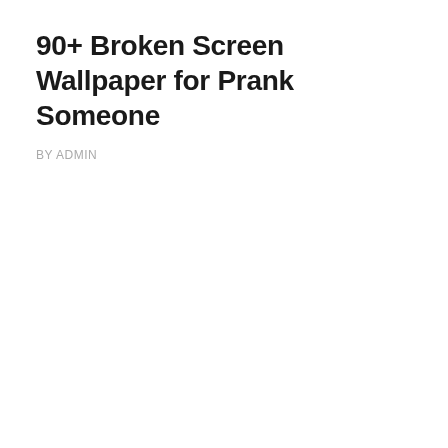90+ Broken Screen Wallpaper for Prank Someone
BY ADMIN